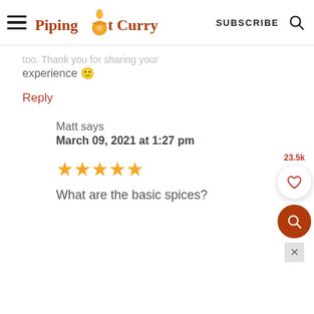[Figure (logo): Piping Pot Curry website header with hamburger menu, logo, SUBSCRIBE text, and search icon]
too. Thank you for sharing your experience 🙂
Reply
Matt says
March 09, 2021 at 1:27 pm
[Figure (other): Five orange stars rating]
What are the basic spices?